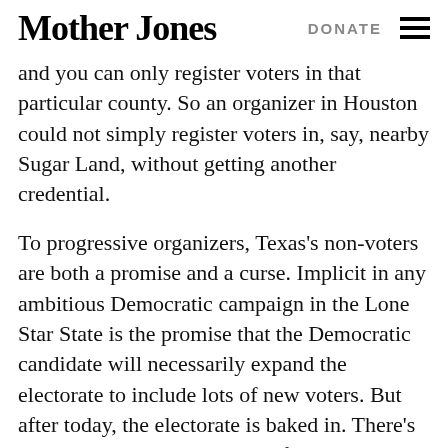Mother Jones  DONATE
and you can only register voters in that particular county. So an organizer in Houston could not simply register voters in, say, nearby Sugar Land, without getting another credential.
To progressive organizers, Texas’s non-voters are both a promise and a curse. Implicit in any ambitious Democratic campaign in the Lone Star State is the promise that the Democratic candidate will necessarily expand the electorate to include lots of new voters. But after today, the electorate is baked in. There’s no more expanding the pool of voters, no more hypotheticals about a mass civic awakening. O’Rourke will go to war with the army he has.